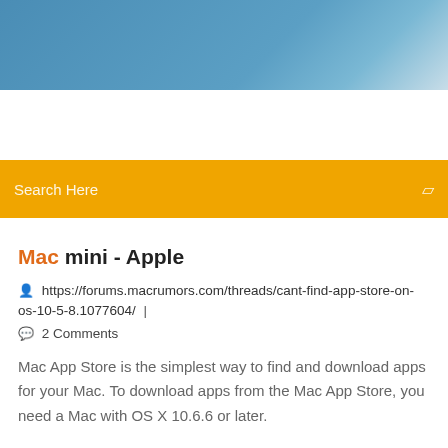[Figure (photo): Blue sky/cloud header image with gradient]
Search Here
Mac mini - Apple
https://forums.macrumors.com/threads/cant-find-app-store-on-os-10-5-8.1077604/  |
2 Comments
Mac App Store is the simplest way to find and download apps for your Mac. To download apps from the Mac App Store, you need a Mac with OS X 10.6.6 or later.